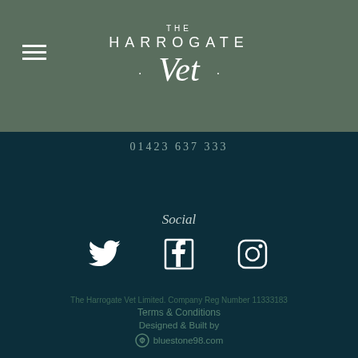[Figure (logo): The Harrogate Vet logo with hamburger menu icon on dark green header background]
01423 637 333
Social
[Figure (infographic): Social media icons: Twitter bird, Facebook F, Instagram camera]
The Harrogate Vet Limited. Company Reg Number 11333183
Terms & Conditions
Designed & Built by
bluestone98.com